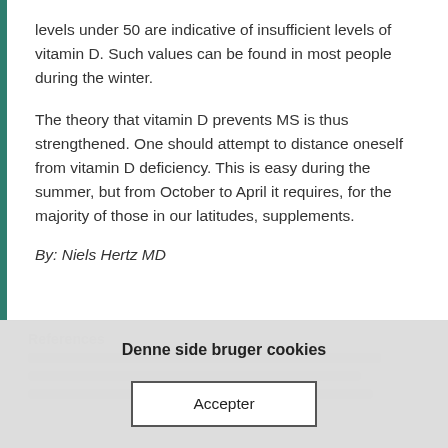levels under 50 are indicative of insufficient levels of vitamin D. Such values can be found in most people during the winter.
The theory that vitamin D prevents MS is thus strengthened. One should attempt to distance oneself from vitamin D deficiency. This is easy during the summer, but from October to April it requires, for the majority of those in our latitudes, supplements.
By: Niels Hertz MD
References
Denne side bruger cookies
Accepter